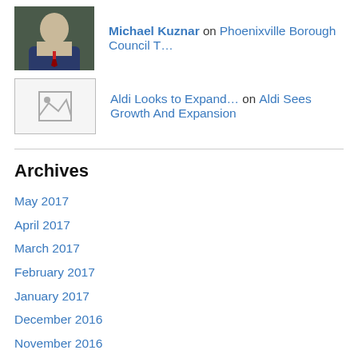Michael Kuznar on Phoenixville Borough Council T…
Aldi Looks to Expand… on Aldi Sees Growth And Expansion
Archives
May 2017
April 2017
March 2017
February 2017
January 2017
December 2016
November 2016
October 2016
September 2016
August 2016
July 2016